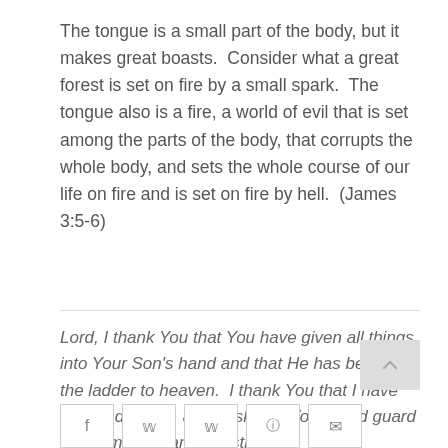The tongue is a small part of the body, but it makes great boasts.  Consider what a great forest is set on fire by a small spark.  The tongue also is a fire, a world of evil that is set among the parts of the body, that corrupts the whole body, and sets the whole course of our life on fire and is set on fire by hell.  (James 3:5-6)
Lord, I thank You that You have given all things into Your Son's hand and that He has become the ladder to heaven.  I thank You that I have received Christ, and I ask that You would guard me from pride and boasting.